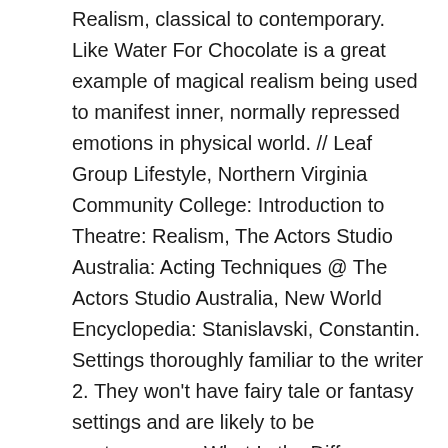Realism, classical to contemporary. Like Water For Chocolate is a great example of magical realism being used to manifest inner, normally repressed emotions in physical world. // Leaf Group Lifestyle, Northern Virginia Community College: Introduction to Theatre: Realism, The Actors Studio Australia: Acting Techniques @ The Actors Studio Australia, New World Encyclopedia: Stanislavski, Constantin. Settings thoroughly familiar to the writer 2. They won't have fairy tale or fantasy settings and are likely to be contemporary. What Is the Difference Between a Comedy & a Tragedy? Life like speech; Accurate articulation; Heightened conversational; Facial Expression – Epic Theatre Realism rejects imaginative idealization in favour of a close observation of outward appearances. It's hard to come up with a 'recipe', but there are a number of important elements that you might expect to be present: Our tips from experts and exam survivors will help you through. This lesson will guide you